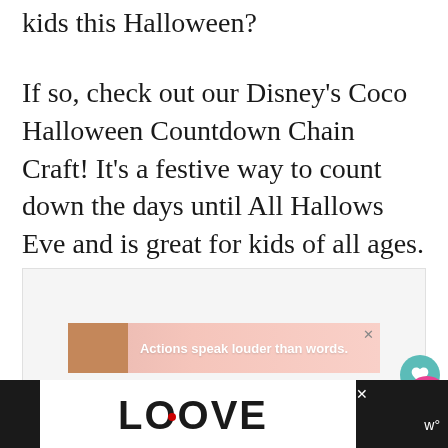kids this Halloween?
If so, check out our Disney's Coco Halloween Countdown Chain Craft! It's a festive way to count down the days until All Hallows Eve and is great for kids of all ages.
[Figure (other): Light gray placeholder image area for a craft photo]
[Figure (advertisement): Pink advertisement banner with a person silhouette and text 'Actions speak louder than words.']
[Figure (other): LOOVE decorative text logo in black and white ornate style on bottom bar]